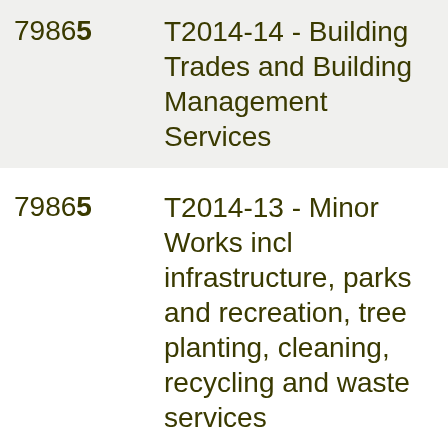79865 T2014-14 - Building Trades and Building Management Services
79865 T2014-13 - Minor Works incl infrastructure, parks and recreation, tree planting, cleaning, recycling and waste services
79869 T2014-20 - Operation & Maintenance of Latham Park Tennis Centre for